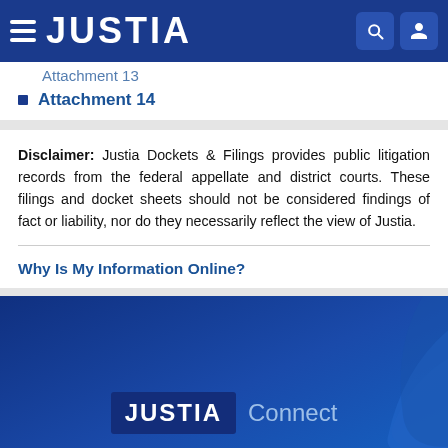JUSTIA
Attachment 13 (partial, clipped at top)
Attachment 14
Disclaimer: Justia Dockets & Filings provides public litigation records from the federal appellate and district courts. These filings and docket sheets should not be considered findings of fact or liability, nor do they necessarily reflect the view of Justia.
Why Is My Information Online?
[Figure (logo): Justia Connect logo on dark blue footer background with decorative swoosh graphic]